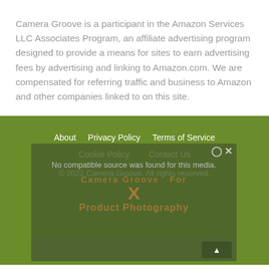Camera Groove is a participant in the Amazon Services LLC Associates Program, an affiliate advertising program designed to provide a means for sites to earn advertising fees by advertising and linking to Amazon.com. We are compensated for referring traffic and business to Amazon and other companies linked to on this site.
About   Privacy Policy   Terms of Service
Cookie Policy   Contact Us
© 2022 Camera Groove. All rights reserved.